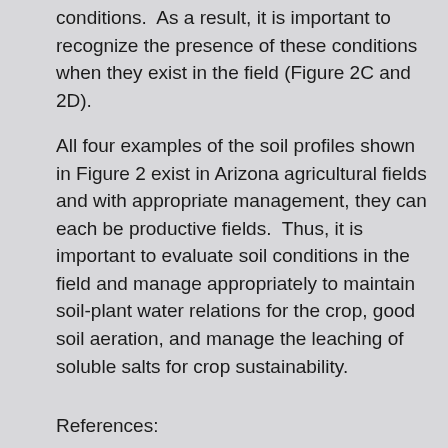conditions.  As a result, it is important to recognize the presence of these conditions when they exist in the field (Figure 2C and 2D).
All four examples of the soil profiles shown in Figure 2 exist in Arizona agricultural fields and with appropriate management, they can each be productive fields.  Thus, it is important to evaluate soil conditions in the field and manage appropriately to maintain soil-plant water relations for the crop, good soil aeration, and manage the leaching of soluble salts for crop sustainability.
References:
Adams, WM, and F.M.R. Hughes.  1990. Irrigation development in desert environments. In: Goudi AS (ed) Techniques for desert reclamation. Wiley, New York, pp 135, 160.